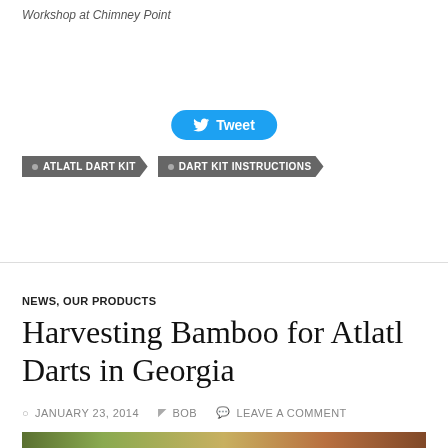Workshop at Chimney Point
[Figure (other): Twitter Tweet button (blue rounded button with bird icon and 'Tweet' label)]
• ATLATL DART KIT  • DART KIT INSTRUCTIONS
NEWS, OUR PRODUCTS
Harvesting Bamboo for Atlatl Darts in Georgia
JANUARY 23, 2014  BOB  LEAVE A COMMENT
[Figure (photo): Outdoor photo showing a man with grey hair wearing an orange jacket, with trees and greenery in the background]